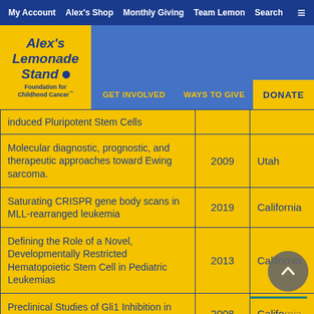My Account | Alex's Shop | Monthly Giving | Team Lemon | Search
[Figure (logo): Alex's Lemonade Stand Foundation for Childhood Cancer logo on yellow background]
| Title | Year | State |
| --- | --- | --- |
| Induced Pluripotent Stem Cells |  |  |
| Molecular diagnostic, prognostic, and therapeutic approaches toward Ewing sarcoma. | 2009 | Utah |
| Saturating CRISPR gene body scans in MLL-rearranged leukemia | 2019 | California |
| Defining the Role of a Novel, Developmentally Restricted Hematopoietic Stem Cell in Pediatric Leukemias | 2013 | California |
| Preclinical Studies of Gli1 Inhibition in Ewing Family Tumors | 2008 | California |
| Identification and validation of new... |  |  |